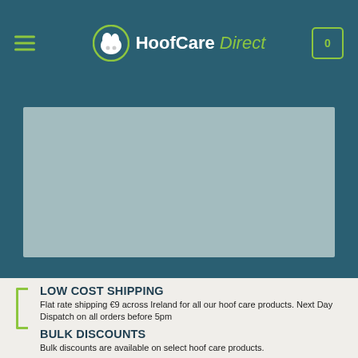HoofCare Direct
[Figure (photo): Banner image placeholder — light blue-grey rectangle on dark teal background]
LOW COST SHIPPING
Flat rate shipping €9 across Ireland for all our hoof care products. Next Day Dispatch on all orders before 5pm
BULK DISCOUNTS
Bulk discounts are available on select hoof care products.